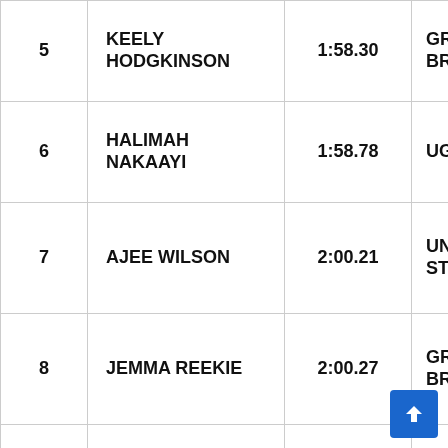| Rank | Name | Time | Country |
| --- | --- | --- | --- |
| 5 | KEELY HODGKINSON | 1:58.30 | GREAT BRITAIN |
| 6 | HALIMAH NAKAAYI | 1:58.78 | UGANDA |
| 7 | AJEE WILSON | 2:00.21 | UNITED STATES |
| 8 | JEMMA REEKIE | 2:00.27 | GREAT BRITAIN |
| 9 | SABRINA SOUTHERLAND | 2:01.87 | UNITED STATES |
|  | KAYLIN WHITNEY | DNF | UNITED STATES |